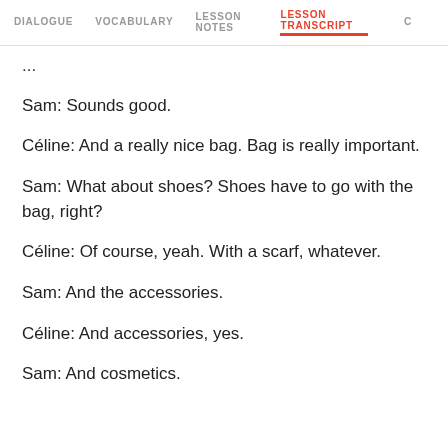DIALOGUE  VOCABULARY  LESSON NOTES  LESSON TRANSCRIPT  C
...
Sam: Sounds good.
Céline: And a really nice bag. Bag is really important.
Sam: What about shoes? Shoes have to go with the bag, right?
Céline: Of course, yeah. With a scarf, whatever.
Sam: And the accessories.
Céline: And accessories, yes.
Sam: And cosmetics.